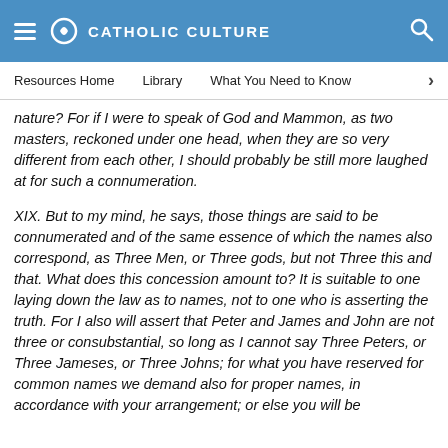CATHOLIC CULTURE
Resources Home   Library   What You Need to Know
nature? For if I were to speak of God and Mammon, as two masters, reckoned under one head, when they are so very different from each other, I should probably be still more laughed at for such a connumeration.
XIX. But to my mind, he says, those things are said to be connumerated and of the same essence of which the names also correspond, as Three Men, or Three gods, but not Three this and that. What does this concession amount to? It is suitable to one laying down the law as to names, not to one who is asserting the truth. For I also will assert that Peter and James and John are not three or consubstantial, so long as I cannot say Three Peters, or Three Jameses, or Three Johns; for what you have reserved for common names we demand also for proper names, in accordance with your arrangement; or else you will be